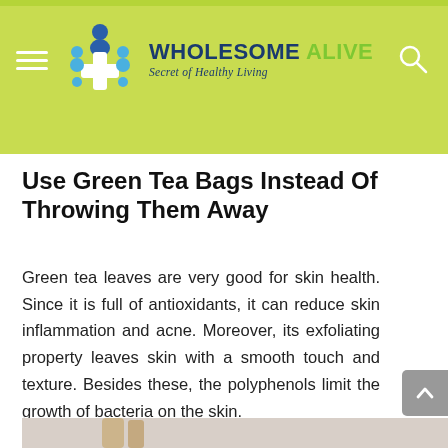WHOLESOME ALIVE — Secret of Healthy Living
Use Green Tea Bags Instead Of Throwing Them Away
Green tea leaves are very good for skin health. Since it is full of antioxidants, it can reduce skin inflammation and acne. Moreover, its exfoliating property leaves skin with a smooth touch and texture. Besides these, the polyphenols limit the growth of bacteria on the skin.
[Figure (photo): Photo of skincare/beauty products including golden tubes and a round container, on a light background]